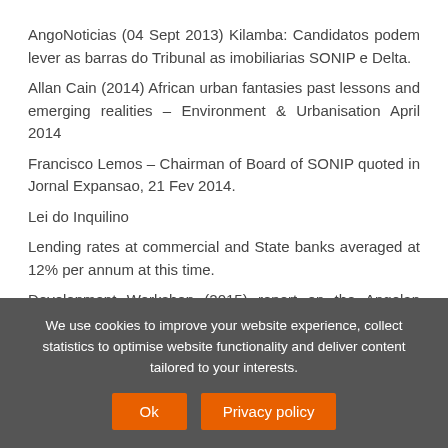AngoNoticias (04 Sept 2013) Kilamba: Candidatos podem lever as barras do Tribunal as imobiliarias SONIP e Delta.
Allan Cain (2014) African urban fantasies past lessons and emerging realities – Environment & Urbanisation April 2014
Francisco Lemos – Chairman of Board of SONIP quoted in Jornal Expansao, 21 Fev 2014.
Lei do Inquilino
Lending rates at commercial and State banks averaged at 12% per annum at this time.
Development Workshop (2015) report on the Angolan Housing Sector.
We use cookies to improve your website experience, collect statistics to optimise website functionality and deliver content tailored to your interests.